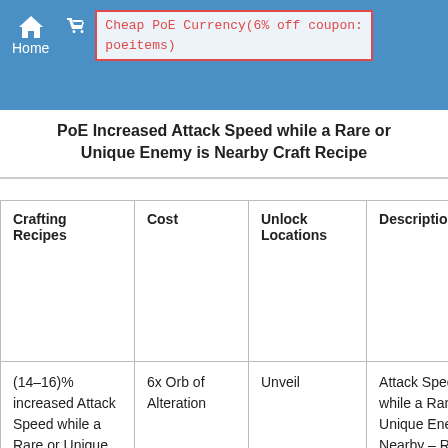Home | Cheap PoE Currency(6% off coupon: poeitems)
PoE Increased Attack Speed while a Rare or Unique Enemy is Nearby Craft Recipe
| Crafting Recipes | Cost | Unlock Locations | Description | Prefix / Suffix | Item Cla... |
| --- | --- | --- | --- | --- | --- |
| (14–16)% increased Attack Speed while a Rare or Unique Enemy is Nearby | 6x Orb of Alteration | Unveil | Attack Speed while a Rare or Unique Enemy is Nearby – Rank 1 | of the Order, Suffix, Global | Two... Ha... Me... Tw... Ha... Ra... |
| (17–19)% increased | 2x Orb of Alchemy | Unveil | Attack Speed while | of the Order, | Tw... Ha... |